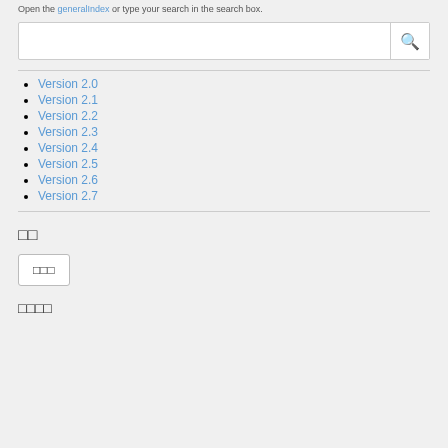Open the generalIndex or type your search in the search box.
[search box]
Version 2.0
Version 2.1
Version 2.2
Version 2.3
Version 2.4
Version 2.5
Version 2.6
Version 2.7
□□
□□□
□□□□